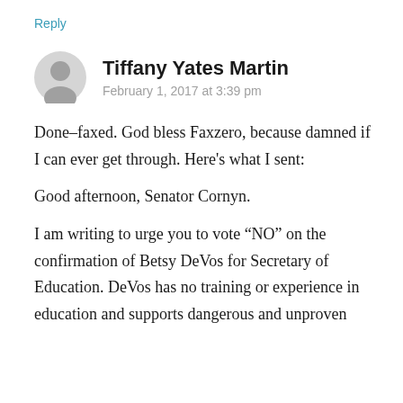Reply
Tiffany Yates Martin
February 1, 2017 at 3:39 pm
Done–faxed. God bless Faxzero, because damned if I can ever get through. Here's what I sent:
Good afternoon, Senator Cornyn.
I am writing to urge you to vote “NO” on the confirmation of Betsy DeVos for Secretary of Education. DeVos has no training or experience in education and supports dangerous and unproven